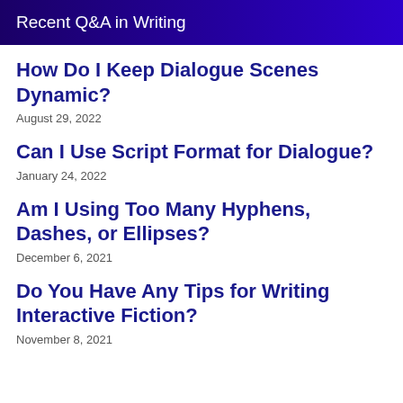Recent Q&A in Writing
How Do I Keep Dialogue Scenes Dynamic?
August 29, 2022
Can I Use Script Format for Dialogue?
January 24, 2022
Am I Using Too Many Hyphens, Dashes, or Ellipses?
December 6, 2021
Do You Have Any Tips for Writing Interactive Fiction?
November 8, 2021